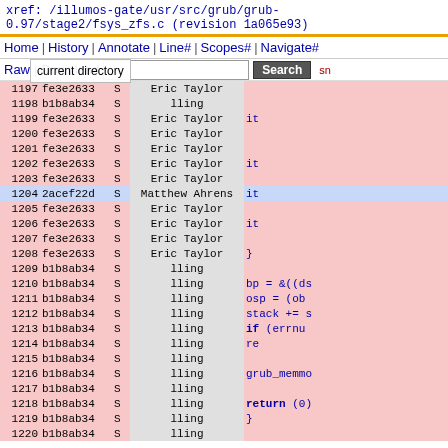xref: /illumos-gate/usr/src/grub/grub-0.97/stage2/fsys_zfs.c (revision 1a065e93)
Home | History | Annotate | Line# | Scopes# | Navigate#
Raw | Download  [Search]  sn
current directory
| line | rev | flag | author | code |
| --- | --- | --- | --- | --- |
| 1197 | fe3e2633 | S | Eric Taylor |  |
| 1198 | b1b8ab34 | S | lling |  |
| 1199 | fe3e2633 | S | Eric Taylor | it |
| 1200 | fe3e2633 | S | Eric Taylor |  |
| 1201 | fe3e2633 | S | Eric Taylor |  |
| 1202 | fe3e2633 | S | Eric Taylor | it |
| 1203 | fe3e2633 | S | Eric Taylor |  |
| 1204 | 2acef22d | S | Matthew Ahrens | it |
| 1205 | fe3e2633 | S | Eric Taylor |  |
| 1206 | fe3e2633 | S | Eric Taylor | it |
| 1207 | fe3e2633 | S | Eric Taylor |  |
| 1208 | fe3e2633 | S | Eric Taylor | } |
| 1209 | b1b8ab34 | S | lling |  |
| 1210 | b1b8ab34 | S | lling | bp = &((ds |
| 1211 | b1b8ab34 | S | lling | osp = (ob |
| 1212 | b1b8ab34 | S | lling | stack += s |
| 1213 | b1b8ab34 | S | lling | if (errnu |
| 1214 | b1b8ab34 | S | lling |     re |
| 1215 | b1b8ab34 | S | lling |  |
| 1216 | b1b8ab34 | S | lling | grub_memmo |
| 1217 | b1b8ab34 | S | lling |  |
| 1218 | b1b8ab34 | S | lling | return (0) |
| 1219 | b1b8ab34 | S | lling | } |
| 1220 | b1b8ab34 | S | lling |  |